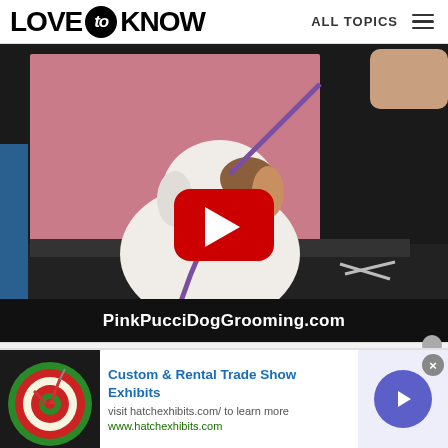LOVE to KNOW  ALL TOPICS
[Figure (screenshot): YouTube-style video thumbnail showing a white fluffy dog at a grooming table with a purple leash, red YouTube play button overlay, and text 'PinkPucciDogGrooming.com' at the bottom]
[Figure (photo): Advertisement banner: Custom & Rental Trade Show Exhibits. Visit hatchexhibits.com/ to learn more. www.hatchexhibits.com. Shows a dartboard image on the left and a blue forward arrow button on the right.]